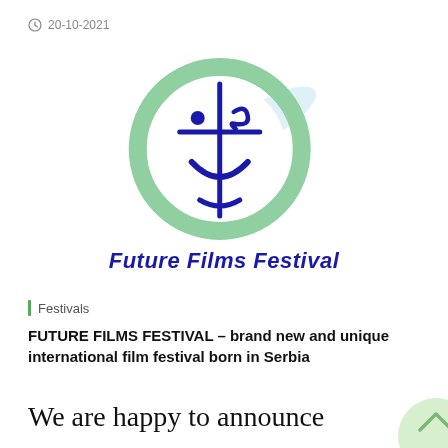20-10-2021
[Figure (logo): Future Films Festival logo: a circular smiley-face figure with dark blue abstract face and cross shape inside a light green circle ring. A light blue diagonal swoosh extends to the upper right.]
Future Films Festival
Festivals
FUTURE FILMS FESTIVAL - brand new and unique international film festival born in Serbia
We are happy to announce